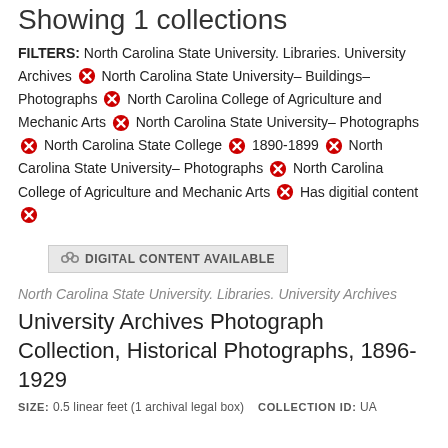Showing 1 collections
FILTERS: North Carolina State University. Libraries. University Archives ✕ North Carolina State University– Buildings– Photographs ✕ North Carolina College of Agriculture and Mechanic Arts ✕ North Carolina State University– Photographs ✕ North Carolina State College ✕ 1890-1899 ✕ North Carolina State University– Photographs ✕ North Carolina College of Agriculture and Mechanic Arts ✕ Has digitial content ✕
DIGITAL CONTENT AVAILABLE
North Carolina State University. Libraries. University Archives
University Archives Photograph Collection, Historical Photographs, 1896-1929
SIZE: 0.5 linear feet (1 archival legal box)  COLLECTION ID: UA